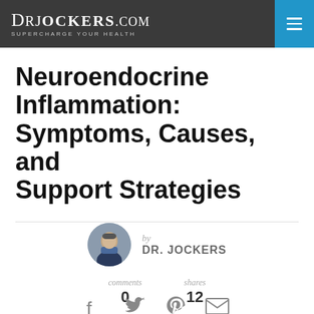DrJockers.com — Supercharge Your Health
Neuroendocrine Inflammation: Symptoms, Causes, and Support Strategies
by DR. JOCKERS
comments 0   shares 12